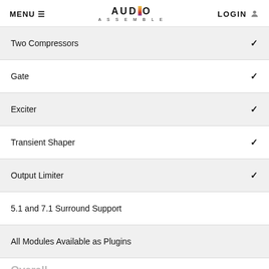MENU  AUDIO ASSEMBLE  LOGIN
Two Compressors ✓
Gate ✓
Exciter ✓
Transient Shaper ✓
Output Limiter ✓
5.1 and 7.1 Surround Support
All Modules Available as Plugins
Overall
Best for: